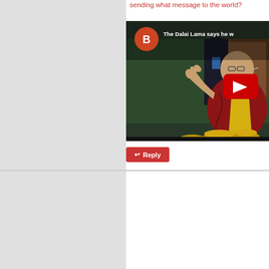sending what message to the world? How will India feel after hosting the Dalai Lama fo... minute video shows the Dalai Lama August 2018 ... part of China! -https://www.youtube.com/watch?v...
[Figure (screenshot): YouTube video thumbnail showing the Dalai Lama seated, gesturing with one hand, wearing red and yellow robes. A YouTube play button overlay is visible. Video title reads 'The Dalai Lama says he w...' with an orange channel avatar showing letter B.]
Reply